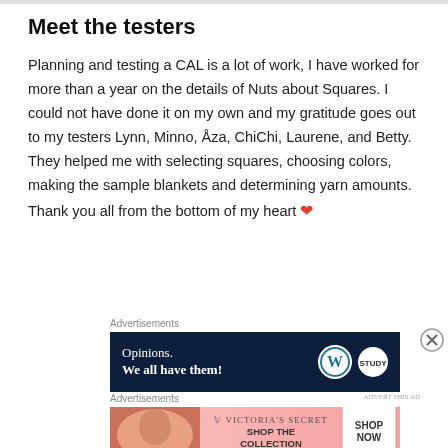Meet the testers
Planning and testing a CAL is a lot of work, I have worked for more than a year on the details of Nuts about Squares. I could not have done it on my own and my gratitude goes out to my testers Lynn, Minno, Åza, ChiChi, Laurene, and Betty. They helped me with selecting squares, choosing colors, making the sample blankets and determining yarn amounts. Thank you all from the bottom of my heart ❤
[Figure (screenshot): Advertisement banner with dark navy background showing 'Opinions. We all have them!' with WordPress and Study Now logos]
[Figure (screenshot): Victoria's Secret advertisement showing 'SHOP THE COLLECTION' with SHOP NOW button and model photo]